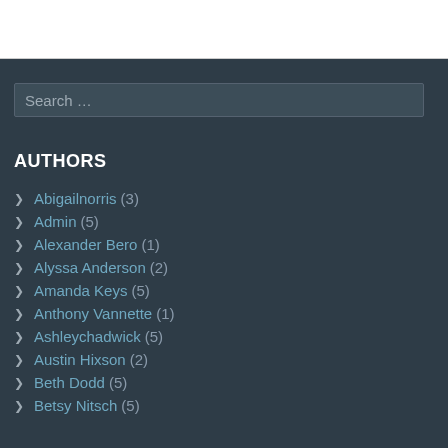AUTHORS
Abigailnorris (3)
Admin (5)
Alexander Bero (1)
Alyssa Anderson (2)
Amanda Keys (5)
Anthony Vannette (1)
Ashleychadwick (5)
Austin Hixson (2)
Beth Dodd (5)
Betsy Nitsch (5)